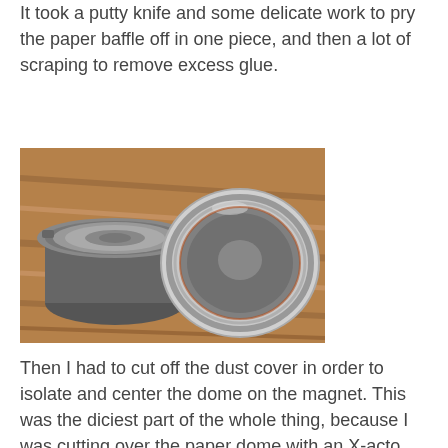It took a putty knife and some delicate work to pry the paper baffle off in one piece, and then a lot of scraping to remove excess glue.
[Figure (photo): Two speaker drivers photographed on a wooden floor. Left speaker shows the front face with a grey paper cone and mounting ring. Right speaker shows the front face with a larger chrome/silver surround ring and dark cone with a central dome.]
Then I had to cut off the dust cover in order to isolate and center the dome on the magnet. This was the diciest part of the whole thing, because I was cutting over the paper dome with an X-acto